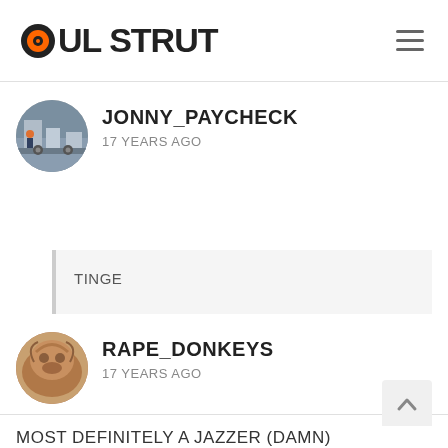SOUL STRUT
JONNY_PAYCHECK
17 YEARS AGO
TINGE
RAPE_DONKEYS
17 YEARS AGO
MOST DEFINITELY A JAZZER (DAMN)